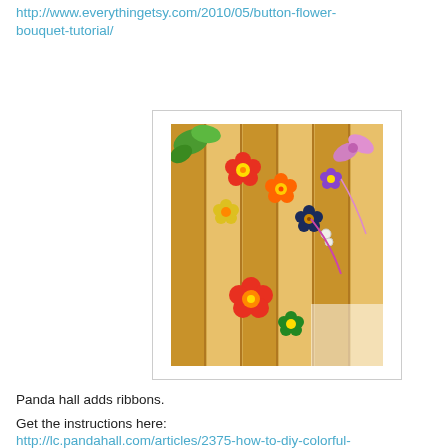http://www.everythingetsy.com/2010/05/button-flower-bouquet-tutorial/
[Figure (photo): Colorful button flowers with ribbons arranged on wooden sticks/sticks on a wooden slat background]
Panda hall adds ribbons.
Get the instructions here:
http://lc.pandahall.com/articles/2375-how-to-diy-colorful-flower-button-bouquet-quickly.html
No comments:
Share